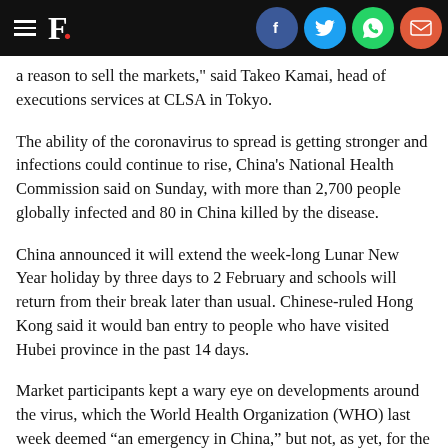F. [Forbes logo with social share icons: Facebook, Twitter, WhatsApp, Email]
a reason to sell the markets," said Takeo Kamai, head of executions services at CLSA in Tokyo.
The ability of the coronavirus to spread is getting stronger and infections could continue to rise, China's National Health Commission said on Sunday, with more than 2,700 people globally infected and 80 in China killed by the disease.
China announced it will extend the week-long Lunar New Year holiday by three days to 2 February and schools will return from their break later than usual. Chinese-ruled Hong Kong said it would ban entry to people who have visited Hubei province in the past 14 days.
Market participants kept a wary eye on developments around the virus, which the World Health Organization (WHO) last week deemed “an emergency in China,” but not, as yet, for the rest of the world.